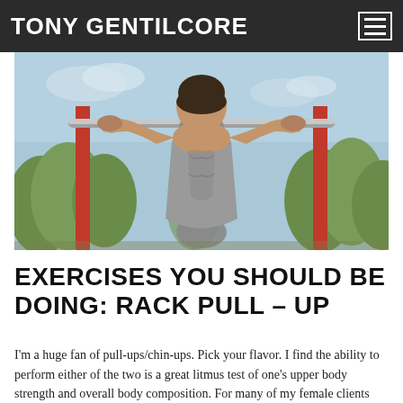TONY GENTILCORE
[Figure (photo): A muscular man seen from behind, doing a pull-up on an outdoor red metal bar structure, wearing a grey tank top, with trees in the background.]
EXERCISES YOU SHOULD BE DOING: RACK PULL – UP
I'm a huge fan of pull-ups/chin-ups. Pick your flavor. I find the ability to perform either of the two is a great litmus test of one's upper body strength and overall body composition. For many of my female clients both points are particularly true: Getting strong enough to bang out one, if not several...